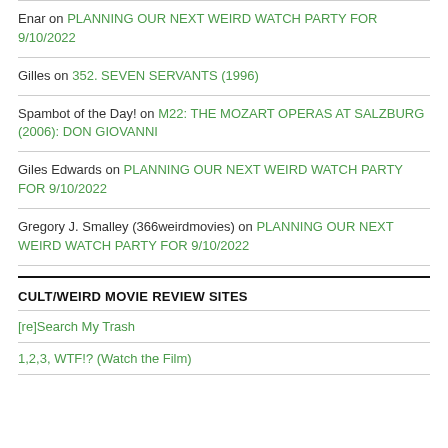Enar on PLANNING OUR NEXT WEIRD WATCH PARTY FOR 9/10/2022
Gilles on 352. SEVEN SERVANTS (1996)
Spambot of the Day! on M22: THE MOZART OPERAS AT SALZBURG (2006): DON GIOVANNI
Giles Edwards on PLANNING OUR NEXT WEIRD WATCH PARTY FOR 9/10/2022
Gregory J. Smalley (366weirdmovies) on PLANNING OUR NEXT WEIRD WATCH PARTY FOR 9/10/2022
CULT/WEIRD MOVIE REVIEW SITES
[re]Search My Trash
1,2,3, WTF!? (Watch the Film)